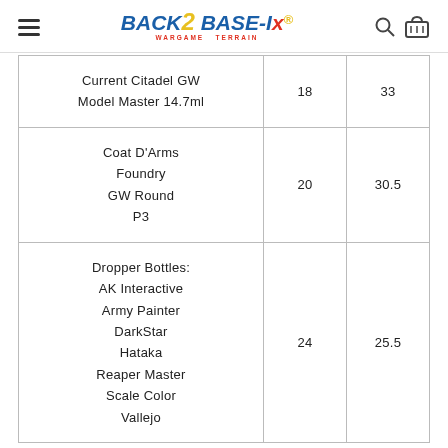Back 2 Base-ix [logo with hamburger menu, search, and basket icons]
| Paint Brand | Col 2 | Col 3 |
| --- | --- | --- |
| Current Citadel GW
Model Master 14.7ml | 18 | 33 |
| Coat D'Arms
Foundry
GW Round
P3 | 20 | 30.5 |
| Dropper Bottles:
AK Interactive
Army Painter
DarkStar
Hataka
Reaper Master
Scale Color
Vallejo | 24 | 25.5 |
If you want your rack to hold different brands of